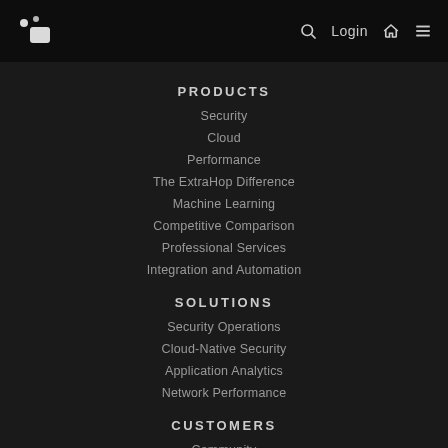Login
PRODUCTS
Security
Cloud
Performance
The ExtraHop Difference
Machine Learning
Competitive Comparison
Professional Services
Integration and Automation
SOLUTIONS
Security Operations
Cloud-Native Security
Application Analytics
Network Performance
CUSTOMERS
Community